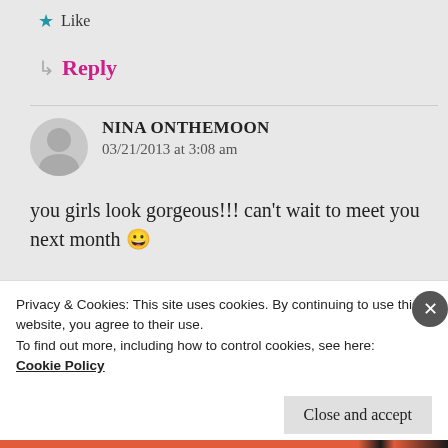★ Like
↳ Reply
NINA ONTHEMOON
03/21/2013 at 3:08 am
you girls look gorgeous!!! can't wait to meet you next month 😀
★ Like
Privacy & Cookies: This site uses cookies. By continuing to use this website, you agree to their use.
To find out more, including how to control cookies, see here:
Cookie Policy
Close and accept